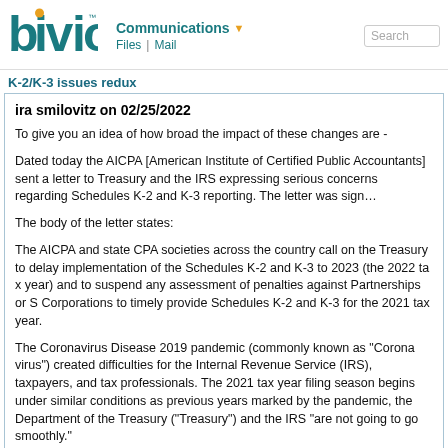bivio | Communications | Files | Mail | Search
K-2/K-3 issues redux
ira smilovitz on 02/25/2022
To give you an idea of how broad the impact of these changes are -
Dated today the AICPA [American Institute of Certified Public Accountants] sent a letter to Treasury and the IRS expressing serious concerns regarding Schedules K-2 and K-3 reporting. The letter was signed by...
The body of the letter states:
The AICPA and state CPA societies across the country call on the Treasury and the IRS to delay implementation of the Schedules K-2 and K-3 to 2023 (the 2022 tax year) and to suspend any assessment of penalties against Partnerships or S Corporations for failure to timely provide Schedules K-2 and K-3 for the 2021 tax year.
The Coronavirus Disease 2019 pandemic (commonly known as "Coronavirus" or "COVID-19") has created profound difficulties for the Internal Revenue Service (IRS), taxpayers, and tax professionals. As the 2021 tax year filing season begins under similar conditions as previous years marked by the ongoing pandemic, the Department of the Treasury ("Treasury") and the IRS "are aware things are not going to go smoothly."
A streamlined and expanded reporting tool of complex matters through forms and instructions is undeniably necessary and we appreciate the importance of IRS's foreign tax credit and related requirements. We also acknowledge the substantial efforts of Treasury...